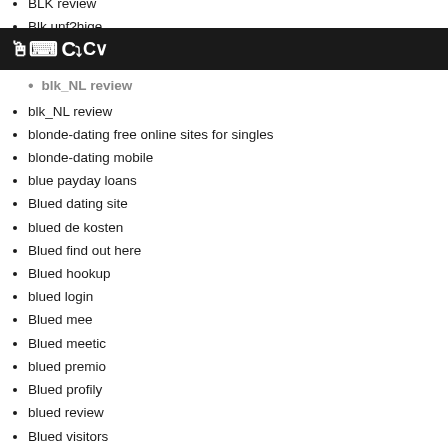BLK review
Blk unfähige
C~
blk_NL review
blonde-dating free online sites for singles
blonde-dating mobile
blue payday loans
Blued dating site
blued de kosten
Blued find out here
Blued hookup
blued login
Blued mee
Blued meetic
blued premio
Blued profily
blued review
Blued visitors
bodybuilder-chat-rooms dating
bodybuilder-chat-rooms review
bodybuilder-dating sign in
boise dating
boise eros escort
boise escort
boise escort site